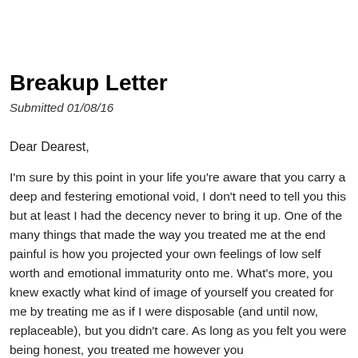Breakup Letter
Submitted 01/08/16
Dear Dearest,
I'm sure by this point in your life you're aware that you carry a deep and festering emotional void, I don't need to tell you this but at least I had the decency never to bring it up. One of the many things that made the way you treated me at the end painful is how you projected your own feelings of low self worth and emotional immaturity onto me. What's more, you knew exactly what kind of image of yourself you created for me by treating me as if I were disposable (and until now, replaceable), but you didn't care. As long as you felt you were being honest, you treated me however you